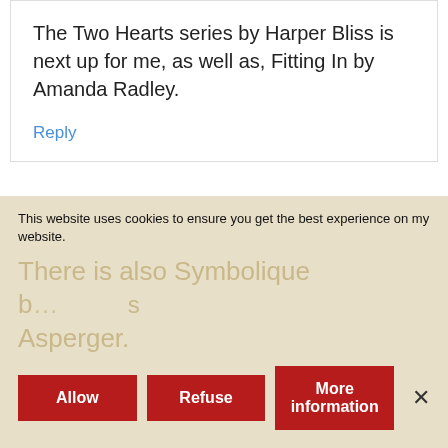The Two Hearts series by Harper Bliss is next up for me, as well as, Fitting In by Amanda Radley.
Reply
Rawena
April 2, 2021 at 11:44 pm
This website uses cookies to ensure you get the best experience on my website.
There is also Symbolique b... Asperger.
Allow
Refuse
More information